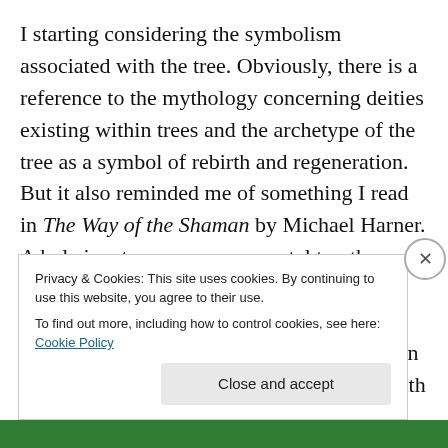I starting considering the symbolism associated with the tree. Obviously, there is a reference to the mythology concerning deities existing within trees and the archetype of the tree as a symbol of rebirth and regeneration. But it also reminded me of something I read in The Way of the Shaman by Michael Harner. A hole in a tree serves as a portal to other realms. Using visualization, the shaman is able to project himself through the hole and into the other realm. Whenever I go hiking in the woods and come across a hollow tree with a hole in it, I cannot help seeing this as an opening into a hidden dimension.
Privacy & Cookies: This site uses cookies. By continuing to use this website, you agree to their use.
To find out more, including how to control cookies, see here: Cookie Policy
Close and accept